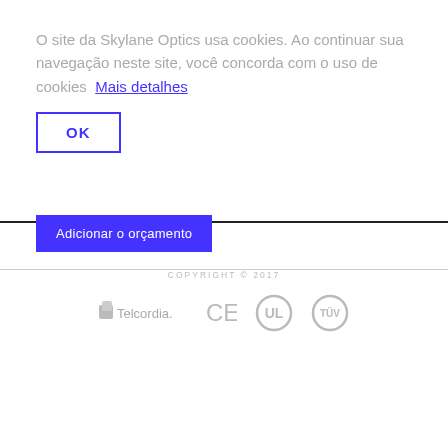O site da Skylane Optics usa cookies. Ao continuar sua navegação neste site, você concorda com o uso de cookies  Mais detalhes
OK
Adicionar o orçamento
COPYRIGHT © 2017
[Figure (logo): Telcordia logo, CE mark, UL mark, TÜV mark, and arch/horseshoe symbol]